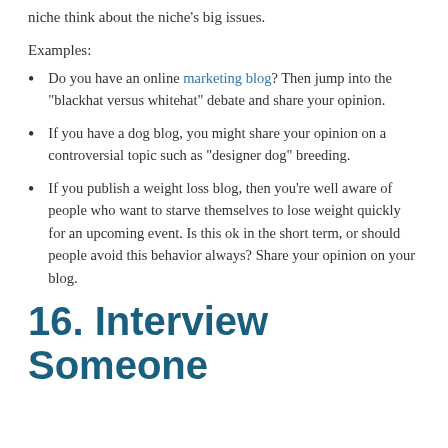niche think about the niche's big issues.
Examples:
Do you have an online marketing blog? Then jump into the “blackhat versus whitehat” debate and share your opinion.
If you have a dog blog, you might share your opinion on a controversial topic such as “designer dog” breeding.
If you publish a weight loss blog, then you’re well aware of people who want to starve themselves to lose weight quickly for an upcoming event. Is this ok in the short term, or should people avoid this behavior always? Share your opinion on your blog.
16. Interview Someone